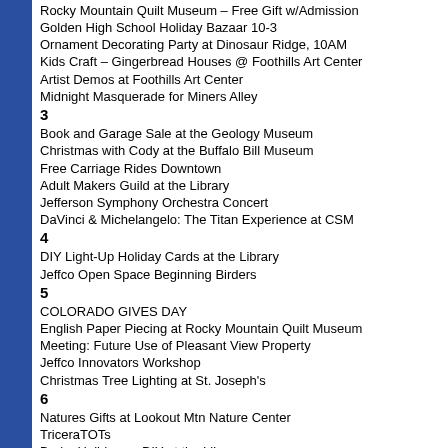Rocky Mountain Quilt Museum – Free Gift w/Admission
Golden High School Holiday Bazaar 10-3
Ornament Decorating Party at Dinosaur Ridge, 10AM
Kids Craft – Gingerbread Houses @ Foothills Art Center
Artist Demos at Foothills Art Center
Midnight Masquerade for Miners Alley
3
Book and Garage Sale at the Geology Museum
Christmas with Cody at the Buffalo Bill Museum
Free Carriage Rides Downtown
Adult Makers Guild at the Library
Jefferson Symphony Orchestra Concert
DaVinci & Michelangelo: The Titan Experience at CSM
4
DIY Light-Up Holiday Cards at the Library
Jeffco Open Space Beginning Birders
5
COLORADO GIVES DAY
English Paper Piecing at Rocky Mountain Quilt Museum
Meeting: Future Use of Pleasant View Property
Jeffco Innovators Workshop
Christmas Tree Lighting at St. Joseph's
6
Natures Gifts at Lookout Mtn Nature Center
TriceraTOTs
Broke Holidays – DIY at the Library
7
Natures Gifts at Lookout Mtn Nature Center
CSM Geology Museum Lecture
GHS Holiday Choir Concert